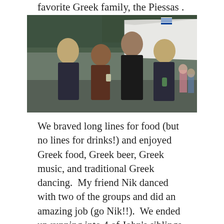favorite Greek family, the Piessas .
[Figure (photo): Four people posing together outdoors at a Greek festival. A large white tent is visible in the background along with trees. Left to right: a blonde woman in a dark shirt, a woman with dark curly hair, a tall man with a beard in a black t-shirt, and a woman with light hair in a dark cardigan. A Greek flag is visible in the background.]
We braved long lines for food (but no lines for drinks!) and enjoyed Greek food, Greek beer, Greek music, and traditional Greek dancing.  My friend Nik danced with two of the groups and did an amazing job (go Nik!!).  We ended up running into 4 of John's siblings and had a really fun family  celebration. The Greek coffee kept me awake much of the night, so I had a lot of time to reflect on how much fun it was!  Pictured above: Bridgette, myself, John, and his